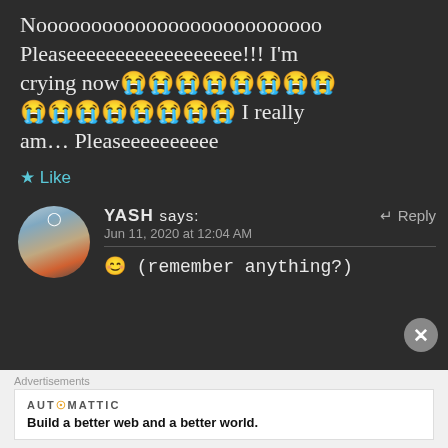Noooooooooooooooooooooooooooo Pleaseeeeeeeeeeeeeeee!!! I'm crying now😭😭😭😭😭😭😭😭😭😭😭😭😭😭😭😭 I really am… Pleaseeeeeeee
★ Like
YASH says: Jun 11, 2020 at 12:04 AM
😊 (remember anything?)
Advertisements
AUTOMATTIC Build a better web and a better world.